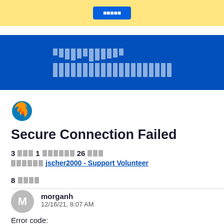[Figure (screenshot): Yellow banner at top with blue button (partially visible/cropped)]
[Figure (screenshot): Blue banner with white redacted/pixelated text blocks]
[Figure (logo): Firefox browser logo (flame and globe icon)]
Secure Connection Failed
3 [redacted] 1 [redacted] 26 [redacted] [redacted] jscher2000 - Support Volunteer
8 [redacted]
morganh
12/16/21, 8:07 AM
Error code:
MOZILLA_PKIX_ERROR_OCSP_RESPONSE_FOR_CERT...